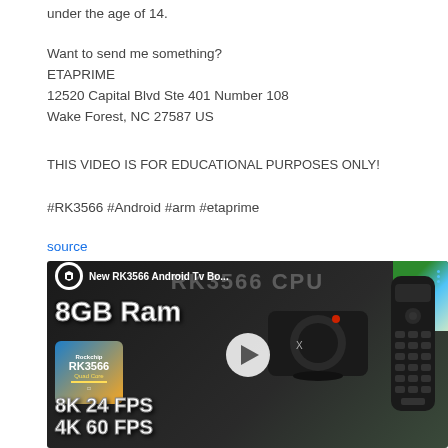under the age of 14.
Want to send me something?
ETAPRIME
12520 Capital Blvd Ste 401 Number 108
Wake Forest, NC 27587 US
THIS VIDEO IS FOR EDUCATIONAL PURPOSES ONLY!
#RK3566 #Android #arm #etaprime
source
[Figure (screenshot): YouTube video thumbnail for 'New RK3566 Android Tv Bo...' showing a TV box with RK3566 chip, 8GB Ram, 8K 24 FPS, 4K 60 FPS labels, a remote control, and flowers in background]